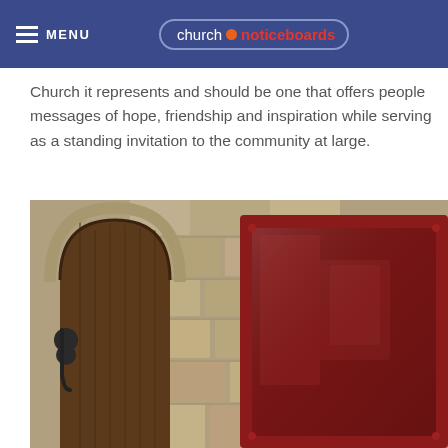MENU | church noticeboards
Church it represents and should be one that offers people messages of hope, friendship and inspiration while serving as a standing invitation to the community at large.
[Figure (photo): A red-framed church noticeboard mounted outside a stone church building with an arched wooden door, photographed outdoors.]